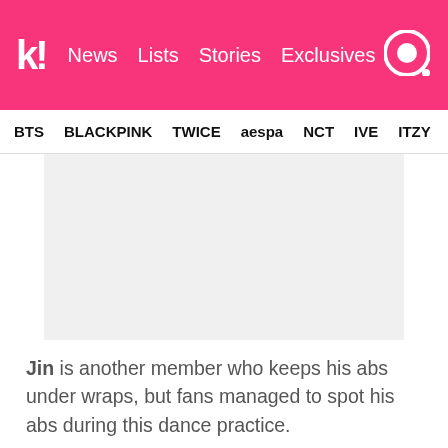k! News Lists Stories Exclusives
BTS  BLACKPINK  TWICE  aespa  NCT  IVE  ITZY
[Figure (photo): Large image placeholder (light gray rectangle) showing a dance practice video thumbnail]
Jin is another member who keeps his abs under wraps, but fans managed to spot his abs during this dance practice.
4. Jimin